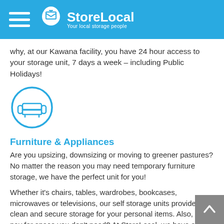StoreLocal — Your local storage people
why, at our Kawana facility, you have 24 hour access to your storage unit, 7 days a week – including Public Holidays!
[Figure (illustration): Circular icon with a sofa/armchair outline in blue]
Furniture & Appliances
Are you upsizing, downsizing or moving to greener pastures? No matter the reason you may need temporary furniture storage, we have the perfect unit for you!
Whether it's chairs, tables, wardrobes, bookcases, microwaves or televisions, our self storage units provide clean and secure storage for your personal items. Also, why pay for space you don't need? At StoreLocal, we have a Right Size Guarantee, meaning you'll only ever pay for the space you need.